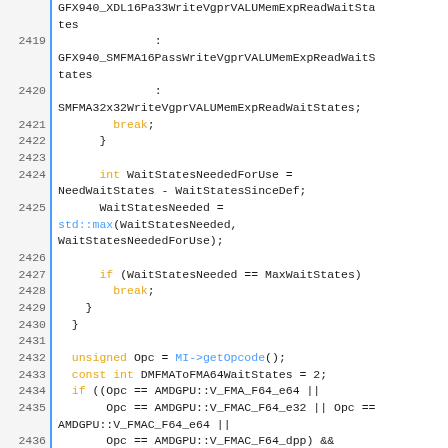Source code listing, lines 2419-2440, C++ GPU wait states logic